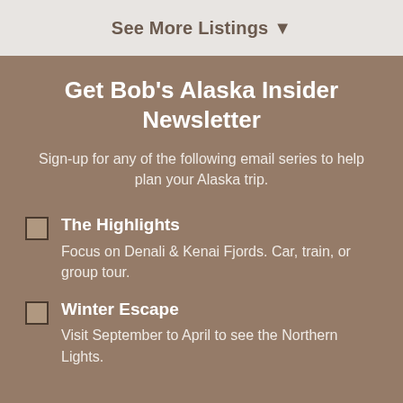See More Listings ▼
Get Bob's Alaska Insider Newsletter
Sign-up for any of the following email series to help plan your Alaska trip.
The Highlights — Focus on Denali & Kenai Fjords. Car, train, or group tour.
Winter Escape — Visit September to April to see the Northern Lights.